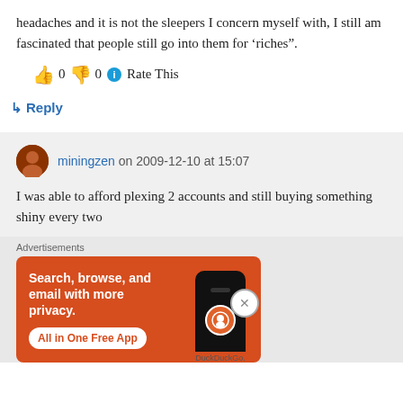headaches and it is not the sleepers I concern myself with, I still am fascinated that people still go into them for ‘riches”.
👍 0 👎 0 ℹ Rate This
↳ Reply
miningzen on 2009-12-10 at 15:07
I was able to afford plexing 2 accounts and still buying something shiny every two
[Figure (other): DuckDuckGo advertisement banner: orange background with text 'Search, browse, and email with more privacy. All in One Free App' and phone image with DuckDuckGo logo.]